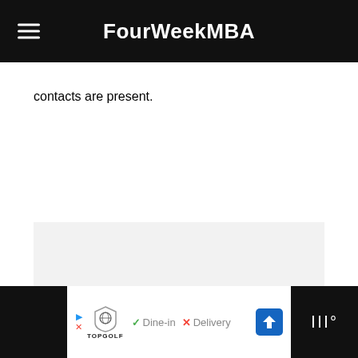FourWeekMBA
contacts are present.
[Figure (other): Light gray rectangular content/image placeholder area]
Topgolf ad — Dine-in · Delivery